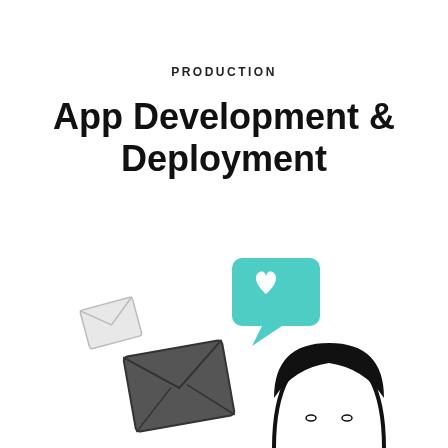PRODUCTION
App Development & Deployment
[Figure (illustration): An illustration showing two envelope icons (a small light one and a larger dark grey one) floating to the left, a teal/mint speech bubble with a white heart icon above, and the top of a person's head with black hair at the bottom right, suggesting a mobile app or messaging theme.]